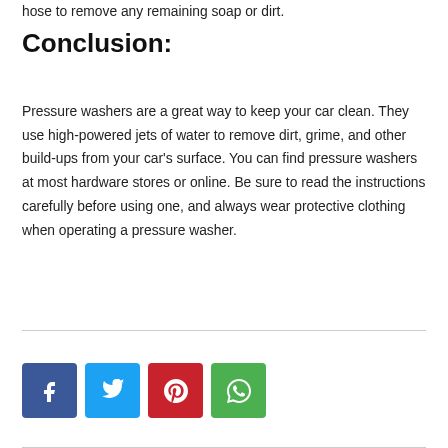hose to remove any remaining soap or dirt.
Conclusion:
Pressure washers are a great way to keep your car clean. They use high-powered jets of water to remove dirt, grime, and other build-ups from your car's surface. You can find pressure washers at most hardware stores or online. Be sure to read the instructions carefully before using one, and always wear protective clothing when operating a pressure washer.
[Figure (other): Social share buttons: Facebook, Twitter, Pinterest, WhatsApp]